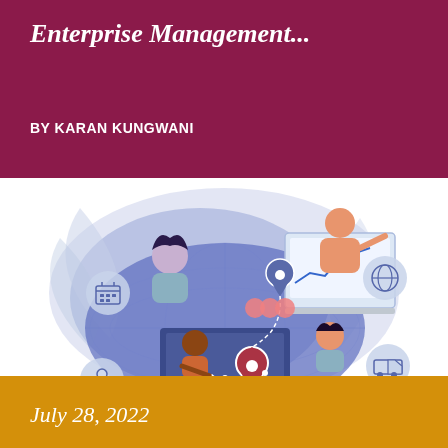Enterprise Management...
BY KARAN KUNGWANI
[Figure (illustration): Business enterprise management illustration showing diverse people working with laptops and charts on a global map background, with icons representing calendar/schedule, globe/world, location pins, and logistics/transport. A magnet logo is visible at the bottom left. The color palette features blue/purple tones with coral/pink figures.]
July 28, 2022